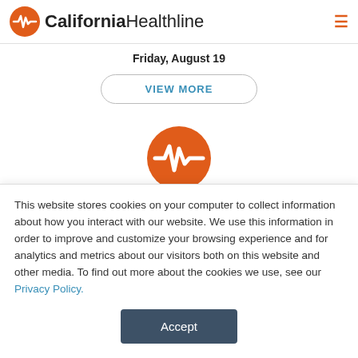California Healthline
Friday, August 19
VIEW MORE
[Figure (logo): California Healthline orange circular logo with heartbeat/EKG line icon]
© CALIFORNIA HEALTHLINE 1998-2022. ALL RIGHTS
This website stores cookies on your computer to collect information about how you interact with our website. We use this information in order to improve and customize your browsing experience and for analytics and metrics about our visitors both on this website and other media. To find out more about the cookies we use, see our Privacy Policy.
Accept